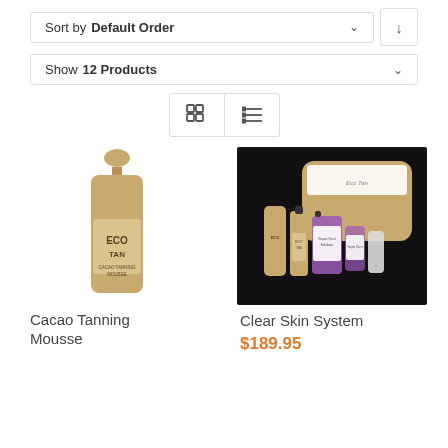Sort by Default Order
Show 12 Products
[Figure (screenshot): Grid and list view toggle buttons]
[Figure (photo): ECO TAN Cacao Tanning Mousse product bottle in gold/champagne color]
[Figure (photo): Clear Skin System kit showing multiple ECO TAN skincare products with a travel pouch on black background]
Cacao Tanning Mousse
Clear Skin System
$189.95